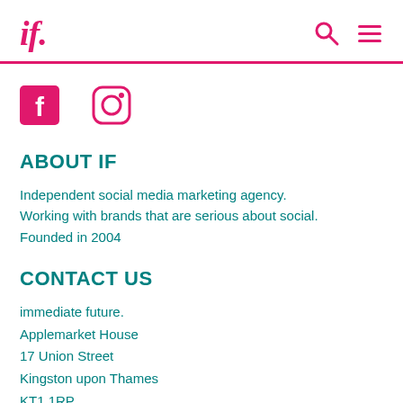if.
[Figure (logo): Facebook icon - pink square with white f]
[Figure (logo): Instagram icon - pink outlined camera/square]
ABOUT IF
Independent social media marketing agency. Working with brands that are serious about social. Founded in 2004
CONTACT US
immediate future.
Applemarket House
17 Union Street
Kingston upon Thames
KT1 1RP